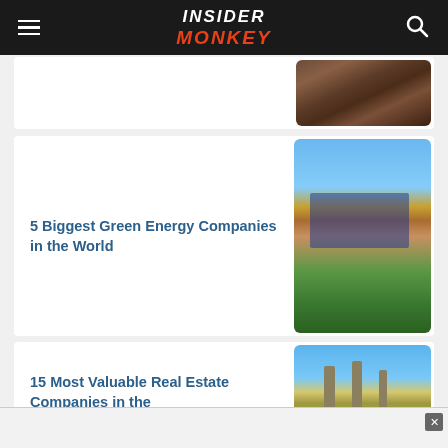Insider Monkey
[Figure (photo): Soil or dirt texture close-up photo]
5 Biggest Green Energy Companies in the World
[Figure (photo): House with solar panels on roof surrounded by green trees and garden]
15 Most Valuable Real Estate Companies in the
[Figure (photo): Construction cranes and buildings under construction against blue sky]
[Figure (screenshot): Advertisement overlay banner at bottom of page with close button]